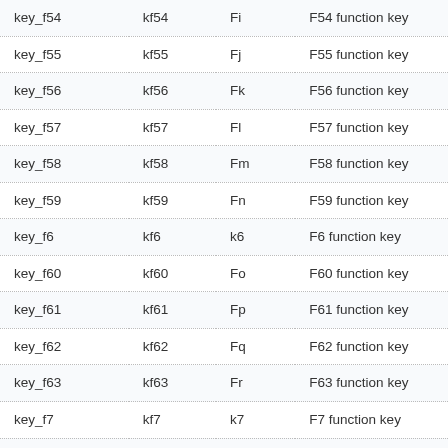| key_f54 | kf54 | Fi | F54 function key |
| key_f55 | kf55 | Fj | F55 function key |
| key_f56 | kf56 | Fk | F56 function key |
| key_f57 | kf57 | Fl | F57 function key |
| key_f58 | kf58 | Fm | F58 function key |
| key_f59 | kf59 | Fn | F59 function key |
| key_f6 | kf6 | k6 | F6 function key |
| key_f60 | kf60 | Fo | F60 function key |
| key_f61 | kf61 | Fp | F61 function key |
| key_f62 | kf62 | Fq | F62 function key |
| key_f63 | kf63 | Fr | F63 function key |
| key_f7 | kf7 | k7 | F7 function key |
| key_f8 | kf8 | k8 | F8 function key |
| key_f9 | kf9 | k9 | F9 function key |
| key_find | kfnd | @0 | find key |